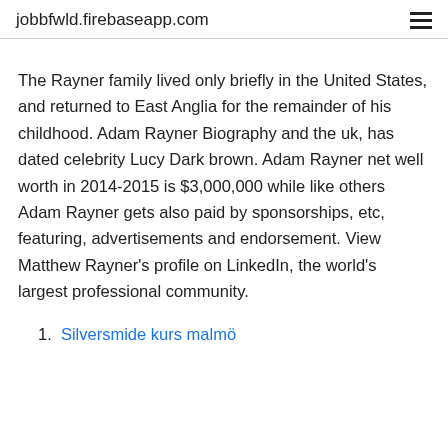jobbfwld.firebaseapp.com
The Rayner family lived only briefly in the United States, and returned to East Anglia for the remainder of his childhood. Adam Rayner Biography and the uk, has dated celebrity Lucy Dark brown. Adam Rayner net well worth in 2014-2015 is $3,000,000 while like others Adam Rayner gets also paid by sponsorships, etc, featuring, advertisements and endorsement. View Matthew Rayner's profile on LinkedIn, the world's largest professional community.
Silversmide kurs malmö